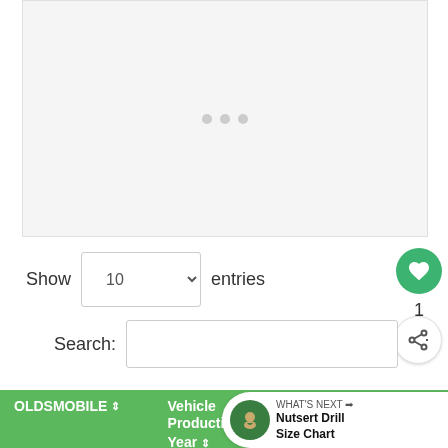[Figure (screenshot): Light grey image placeholder area with three small grey dots in the center indicating a loading or carousel state]
Show 10 entries
[Figure (other): Green circular heart/favorite button]
1
[Figure (other): White circular share button with share icon]
Search:
| OLDSMOBILE | Vehicle Production Year | Lug Nut Dimensions | NuBo |
| --- | --- | --- | --- |